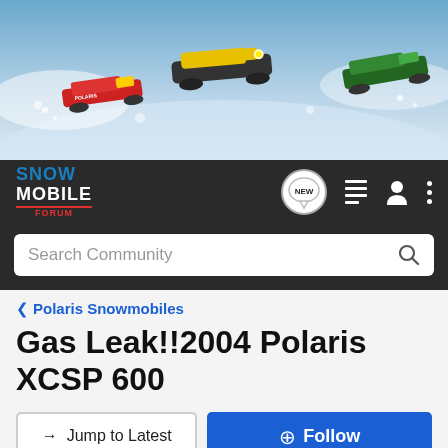[Figure (photo): Snowmobile action banner showing three snowmobiles racing through snow, with branding including Polaris]
SNOWMOBILE FORUM
Search Community
< Polaris Snowmobiles
Gas Leak!!2004 Polaris XCSP 600
→ Jump to Latest
+ Follow
1 - 6 of 6 Posts
saranac1973 · Registered
Joined Jul 8, 2009 · 96 Posts